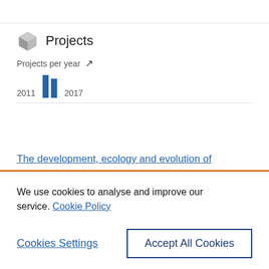[Figure (bar-chart): Projects per year]
The development, ecology and evolution of
We use cookies to analyse and improve our service. Cookie Policy
Cookies Settings
Accept All Cookies